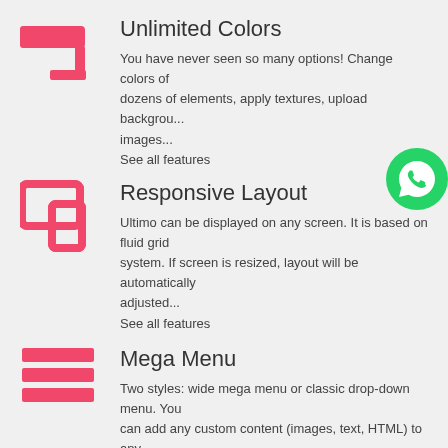Unlimited Colors
You have never seen so many options! Change colors of dozens of elements, apply textures, upload background images...
See all features
Responsive Layout
Ultimo can be displayed on any screen. It is based on fluid grid system. If screen is resized, layout will be automatically adjusted...
See all features
Mega Menu
Two styles: wide mega menu or classic drop-down menu. You can add any custom content (images, text, HTML) to any category in the catalog...
See all features
Font Icons